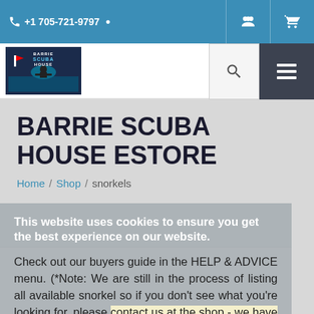+1 705-721-9797
[Figure (logo): Barrie Scuba House logo — dark blue square with diver silhouette and text BARRIE SCUBA HOUSE]
BARRIE SCUBA HOUSE ESTORE
Home / Shop / snorkels
This website uses cookies to ensure you get the best experience on our website.
Check out our buyers guide in the HELP & ADVICE menu. (*Note: We are still in the process of listing all available snorkel so if you don't see what you're looking for, please contact us at the shop - we have it for you!)